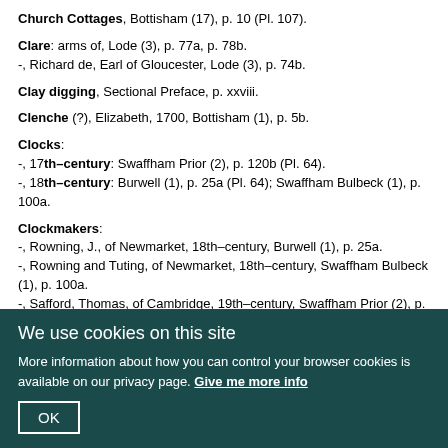Church Cottages, Bottisham (17), p. 10 (Pl. 107).
Clare: arms of, Lode (3), p. 77a, p. 78b.
-, Richard de, Earl of Gloucester, Lode (3), p. 74b.
Clay digging, Sectional Preface, p. xxviii.
Clenche (?), Elizabeth, 1700, Bottisham (1), p. 5b.
Clocks:
-, 17th–century: Swaffham Prior (2), p. 120b (Pl. 64).
-, 18th–century: Burwell (1), p. 25a (Pl. 64); Swaffham Bulbeck (1), p. 100a.
Clockmakers:
-, Rowning, J., of Newmarket, 18th–century, Burwell (1), p. 25a.
-, Rowning and Tuting, of Newmarket, 18th–century, Swaffham Bulbeck (1), p. 100a.
-, Safford, Thomas, of Cambridge, 19th–century, Swaffham Prior (2), p. 120b; Swaffham Bulbeck (1), p. 100a.
Clunch quarrying, Sectional Preface, p. xxviii.
Coade stone, Lode (3), p. 77b, p. 79b, p. 80a.
We use cookies on this site
More information about how you can control your browser cookies is available on our privacy page. Give me more info
OK